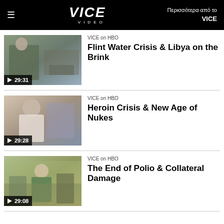≡  VICE VIDEO  Περισσότερα από το VICE
VICE on HBO
Flint Water Crisis & Libya on the Brink
▶ 29:31
VICE on HBO
Heroin Crisis & New Age of Nukes
▶ 29:28
VICE on HBO
The End of Polio & Collateral Damage
▶ 29:08